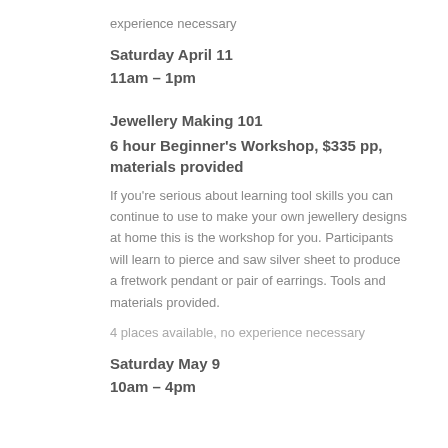experience necessary
Saturday April 11
11am – 1pm
Jewellery Making 101
6 hour Beginner’s Workshop, $335 pp, materials provided
If you’re serious about learning tool skills you can continue to use to make your own jewellery designs at home this is the workshop for you. Participants will learn to pierce and saw silver sheet to produce a fretwork pendant or pair of earrings. Tools and materials provided.
4 places available, no experience necessary
Saturday May 9
10am – 4pm